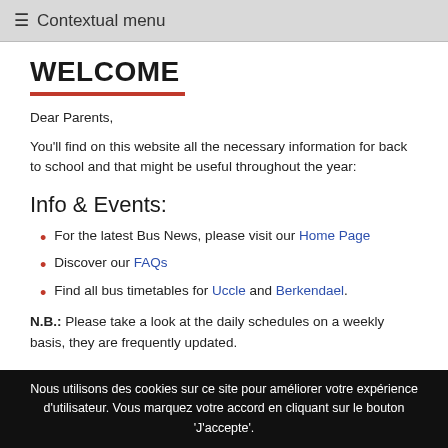Contextual menu
WELCOME
Dear Parents,
You'll find on this website all the necessary information for back to school and that might be useful throughout the year:
Info & Events:
For the latest Bus News, please visit our Home Page
Discover our FAQs
Find all bus timetables for Uccle and Berkendael.
N.B.: Please take a look at the daily schedules on a weekly basis, they are frequently updated.
Nous utilisons des cookies sur ce site pour améliorer votre expérience d'utilisateur. Vous marquez votre accord en cliquant sur le bouton 'J'accepte'.